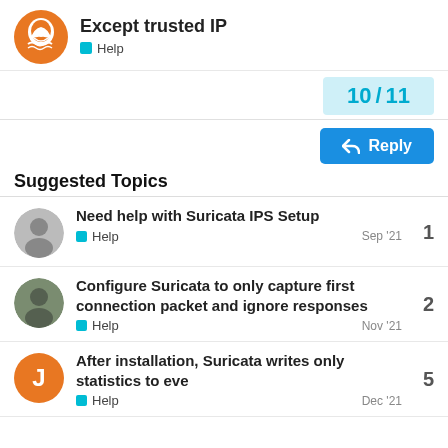Except trusted IP — Help
10 / 11
Reply
Suggested Topics
Need help with Suricata IPS Setup — Help — Sep '21 — 1
Configure Suricata to only capture first connection packet and ignore responses — Help — Nov '21 — 2
After installation, Suricata writes only statistics to eve — Help — Dec '21 — 5